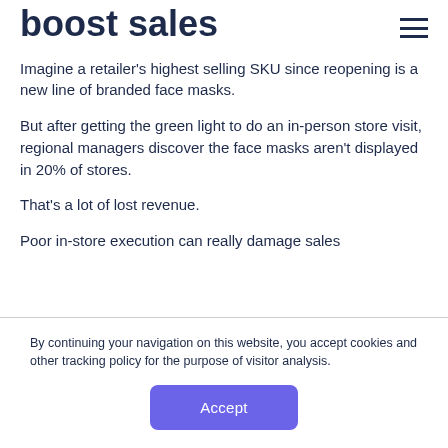boost sales
Imagine a retailer's highest selling SKU since reopening is a new line of branded face masks.
But after getting the green light to do an in-person store visit, regional managers discover the face masks aren't displayed in 20% of stores.
That's a lot of lost revenue.
Poor in-store execution can really damage sales
By continuing your navigation on this website, you accept cookies and other tracking policy for the purpose of visitor analysis.